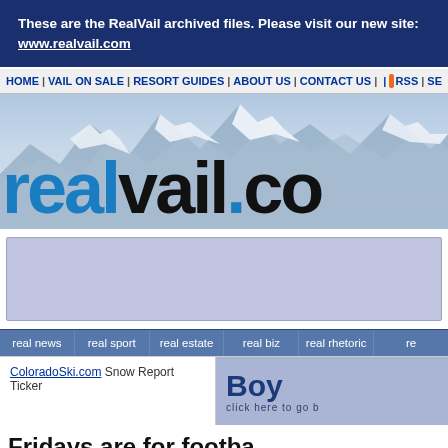These are the RealVail archived files. Please visit our new site: www.realvail.com
HOME | VAIL ON SALE | RESORT GUIDES | ABOUT US | CONTACT US | RSS | SE...
[Figure (logo): realvail.com logo over snowy mountain background]
[Figure (other): Advertisement placeholder area (light blue/lavender rectangle)]
real news | real sport | real estate | real biz | real rhetoric | re...
ColoradoSki.com Snow Report Ticker
Boy... click here to go b...
Fridays are for footba...